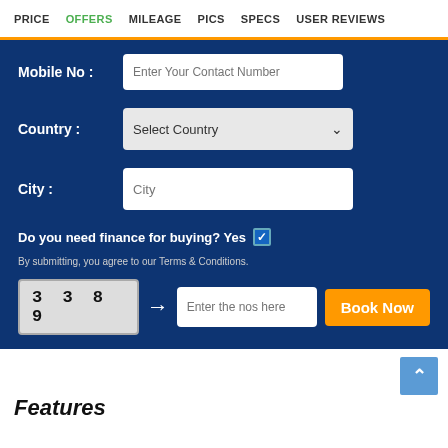PRICE  OFFERS  MILEAGE  PICS  SPECS  USER REVIEWS
Mobile No : Enter Your Contact Number
Country : Select Country
City : City
Do you need finance for buying? Yes ✓
By submitting, you agree to our Terms & Conditions.
3 3 8 9  →  Enter the nos here  Book Now
Features